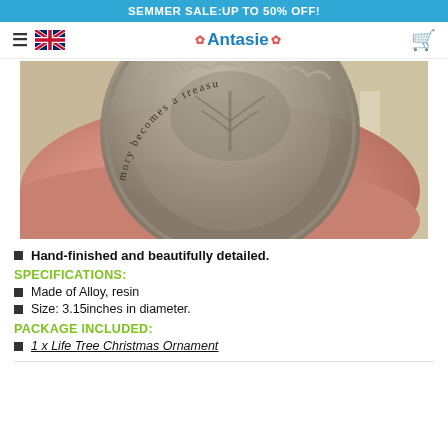SEMMER SALE:UP TO 50% OFF!
Antasie (navigation bar with hamburger, UK flag, brand logo, cart icon)
[Figure (photo): Close-up photo of a hand holding a silver metal ornament/coin with embossed tree of life design and text 'memory becomes a treasu' visible around the edge]
Hand-finished and beautifully detailed.
SPECIFICATIONS:
Made of Alloy, resin
Size: 3.15inches in diameter.
PACKAGE INCLUDED:
1 x Life Tree Christmas Ornament